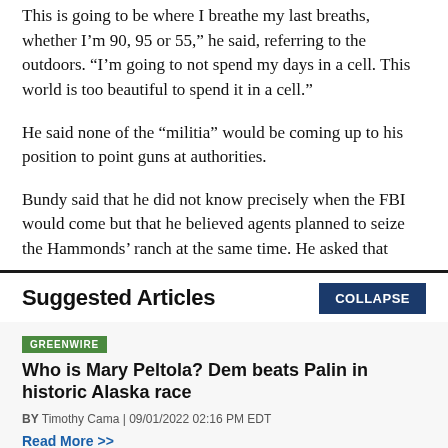This is going to be where I breathe my last breaths, whether I'm 90, 95 or 55," he said, referring to the outdoors. "I'm going to not spend my days in a cell. This world is too beautiful to spend it in a cell."
He said none of the "militia" would be coming up to his position to point guns at authorities.
Bundy said that he did not know precisely when the FBI would come but that he believed agents planned to seize the Hammonds' ranch at the same time. He asked that
Suggested Articles
GREENWIRE
Who is Mary Peltola? Dem beats Palin in historic Alaska race
BY Timothy Cama | 09/01/2022 02:16 PM EDT
Read More >>
GREENWIRE
August saw no named storms for only the third time